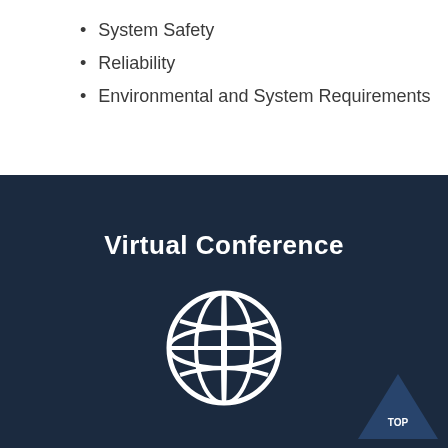System Safety
Reliability
Environmental and System Requirements
Virtual Conference
[Figure (illustration): White globe/world icon on dark navy background representing virtual conference]